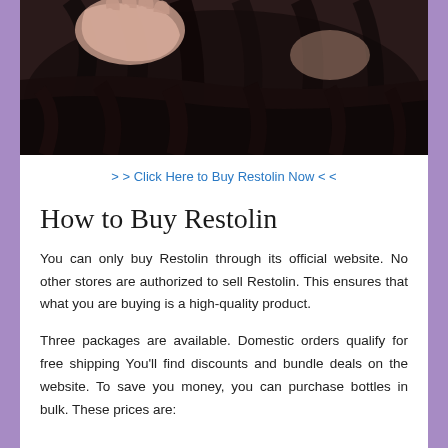[Figure (photo): A woman with dark hair lying down, hands raised near her hair, photographed from above.]
> > Click Here to Buy Restolin Now < <
How to Buy Restolin
You can only buy Restolin through its official website. No other stores are authorized to sell Restolin. This ensures that what you are buying is a high-quality product.
Three packages are available. Domestic orders qualify for free shipping You’ll find discounts and bundle deals on the website. To save you money, you can purchase bottles in bulk. These prices are: